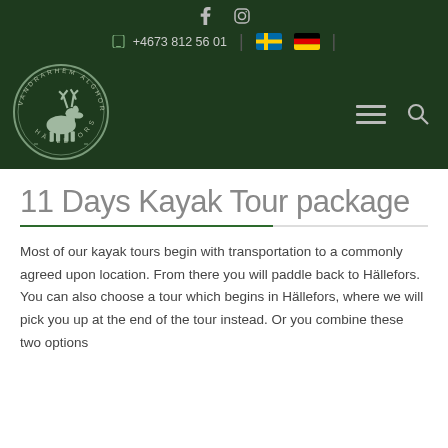f  (instagram)  +4673 812 56 01  [Swedish flag] [German flag]
[Figure (logo): Circular logo for Vandrarhem Alghornet Hällefors with moose head illustration in the center, dark green background with white text around the circle edge.]
11 Days Kayak Tour package
Most of our kayak tours begin with transportation to a commonly agreed upon location. From there you will paddle back to Hällefors. You can also choose a tour which begins in Hällefors, where we will pick you up at the end of the tour instead. Or you combine these two options